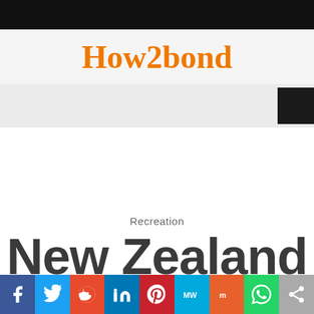How2bond
Recreation
New Zealand
[Figure (infographic): Social media sharing bar with icons for Facebook, Twitter, Reddit, LinkedIn, Pinterest, MeWe, Mix, WhatsApp, and a generic share button]